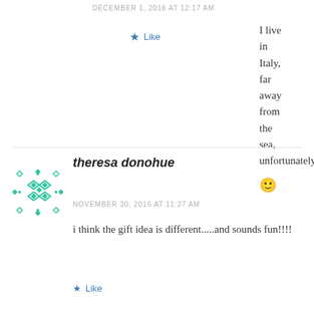DECEMBER 1, 2016 AT 12:17 AM
I live in Italy, far away from the sea, unfortunately.
🙂
★ Like
theresa donohue
NOVEMBER 30, 2016 AT 11:27 AM
i think the gift idea is different.....and sounds fun!!!!
★ Like